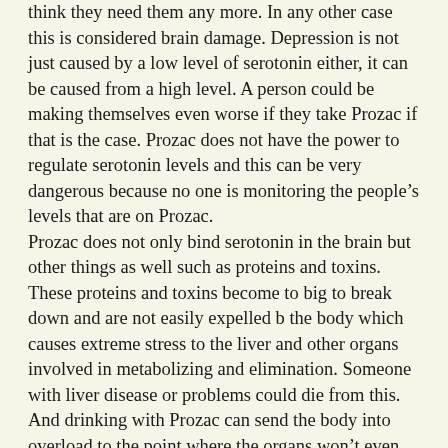think they need them any more. In any other case this is considered brain damage. Depression is not just caused by a low level of serotonin either, it can be caused from a high level. A person could be making themselves even worse if they take Prozac if that is the case. Prozac does not have the power to regulate serotonin levels and this can be very dangerous because no one is monitoring the people's levels that are on Prozac.
Prozac does not only bind serotonin in the brain but other things as well such as proteins and toxins. These proteins and toxins become to big to break down and are not easily expelled b the body which causes extreme stress to the liver and other organs involved in metabolizing and elimination. Someone with liver disease or problems could die from this. And drinking with Prozac can send the body into overload to the point where the organs won't even be able to function right.
Like I said before Prozac is prescribed to all age groups. One in ten people have taken or take Prozac or other anti depressants. In 1998 more than 60 million prescriptions were written for Prozac. Even children are frequently prescribed Prozac as an anti depressant. Good parenting is no longer necessary, now there's a pill to take it's place. This is a shame considering all